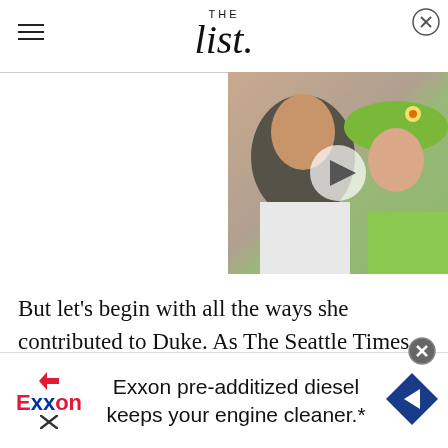THE list
[Figure (photo): Video thumbnail showing two women, one with dark hair in white top and one elderly woman in bright green hat and jacket, with a play button overlay]
But let's begin with all the ways she contributed to Duke. As The Seattle Times reported, Gates was a member of the freshmen advisory council while a
[Figure (other): Exxon advertisement banner: 'Exxon pre-additized diesel keeps your engine cleaner.*' with Exxon logo and blue navigation arrow icon]